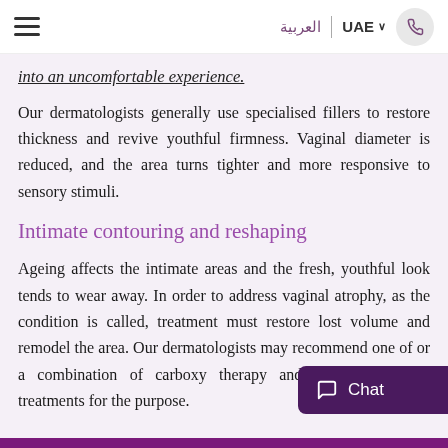العربية | UAE [hamburger menu, phone icon]
into an uncomfortable experience.
Our dermatologists generally use specialised fillers to restore thickness and revive youthful firmness. Vaginal diameter is reduced, and the area turns tighter and more responsive to sensory stimuli.
Intimate contouring and reshaping
Ageing affects the intimate areas and the fresh, youthful look tends to wear away. In order to address vaginal atrophy, as the condition is called, treatment must restore lost volume and remodel the area. Our dermatologists may recommend one of or a combination of carboxy therapy and cust filler treatments for the purpose.